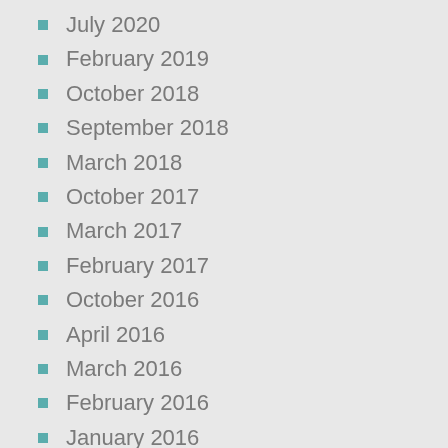July 2020
February 2019
October 2018
September 2018
March 2018
October 2017
March 2017
February 2017
October 2016
April 2016
March 2016
February 2016
January 2016
December 2015
November 2015
October 2015
September 2015
July 2015